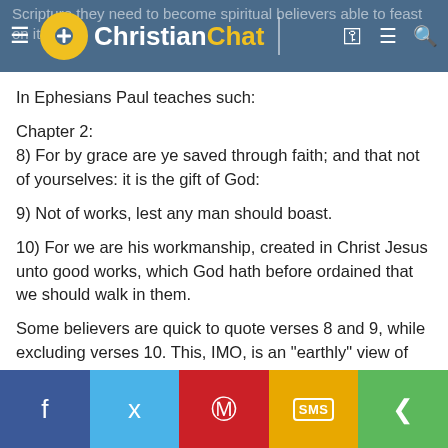Scripture they need to become spiritual believers able to feast on it. ChristianChat
In Ephesians Paul teaches such:
Chapter 2:
8) For by grace are ye saved through faith; and that not of yourselves: it is the gift of God:

9) Not of works, lest any man should boast.

10) For we are his workmanship, created in Christ Jesus unto good works, which God hath before ordained that we should walk in them.

Some believers are quick to quote verses 8 and 9, while excluding verses 10. This, IMO, is an "earthly" view of what Paul was teaching, and not the "spiritual truth" of the Scripture.
Share buttons: Facebook, Twitter, Pinterest, SMS, Share